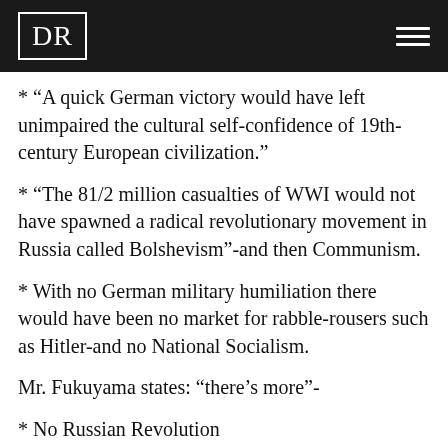DR
* “A quick German victory would have left unimpaired the cultural self-confidence of 19th-century European civilization.”
* “The 81/2 million casualties of WWI would not have spawned a radical revolutionary movement in Russia called Bolshevism”-and then Communism.
* With no German military humiliation there would have been no market for rabble-rousers such as Hitler-and no National Socialism.
Mr. Fukuyama states: “there’s more”-
* No Russian Revolution